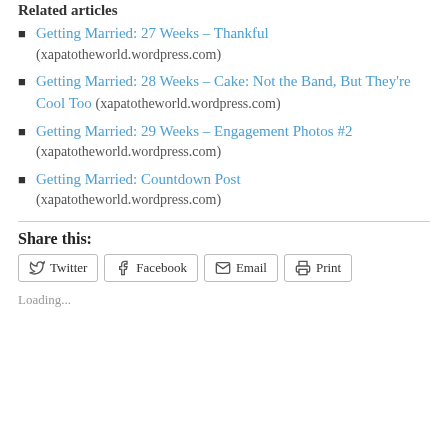Related articles
Getting Married: 27 Weeks – Thankful (xapatotheworld.wordpress.com)
Getting Married: 28 Weeks – Cake: Not the Band, But They're Cool Too (xapatotheworld.wordpress.com)
Getting Married: 29 Weeks – Engagement Photos #2 (xapatotheworld.wordpress.com)
Getting Married: Countdown Post (xapatotheworld.wordpress.com)
Share this:
Loading...